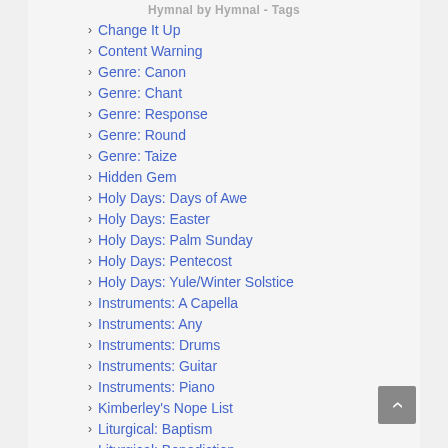Hymnal by Hymnal - Tags
Change It Up
Content Warning
Genre: Canon
Genre: Chant
Genre: Response
Genre: Round
Genre: Taize
Hidden Gem
Holy Days: Days of Awe
Holy Days: Easter
Holy Days: Palm Sunday
Holy Days: Pentecost
Holy Days: Yule/Winter Solstice
Instruments: A Capella
Instruments: Any
Instruments: Drums
Instruments: Guitar
Instruments: Piano
Kimberley's Nope List
Liturgical: Baptism
Liturgical: Benediction
Liturgical: Calling the Directions